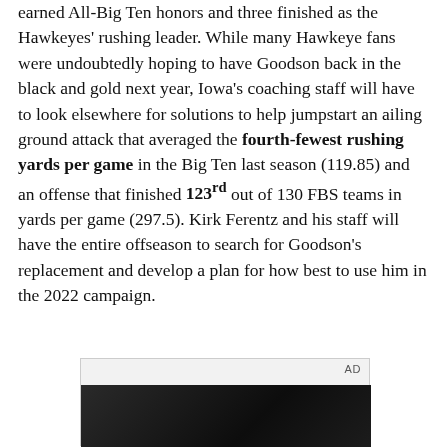earned All-Big Ten honors and three finished as the Hawkeyes' rushing leader. While many Hawkeye fans were undoubtedly hoping to have Goodson back in the black and gold next year, Iowa's coaching staff will have to look elsewhere for solutions to help jumpstart an ailing ground attack that averaged the fourth-fewest rushing yards per game in the Big Ten last season (119.85) and an offense that finished 123rd out of 130 FBS teams in yards per game (297.5). Kirk Ferentz and his staff will have the entire offseason to search for Goodson's replacement and develop a plan for how best to use him in the 2022 campaign.
[Figure (other): Advertisement placeholder with dark image showing a person in a car interior]